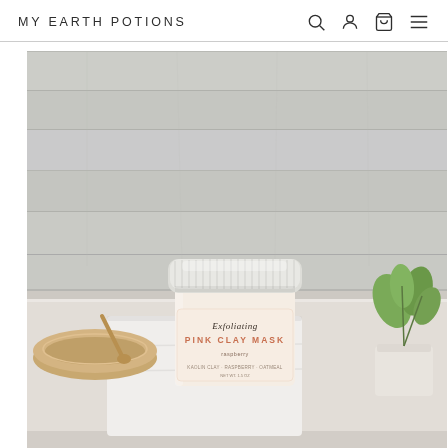MY EARTH POTIONS
[Figure (photo): Product photo of an Exfoliating Pink Clay Mask jar from My Earth Potions, displayed on a white surface with a wooden bowl, white cloth, and a small green plant in the background. The jar has a white lid and a peach/cream label reading 'Exfoliating PINK CLAY MASK' with subtitle text including ingredients. Background is light grey painted wood planks.]